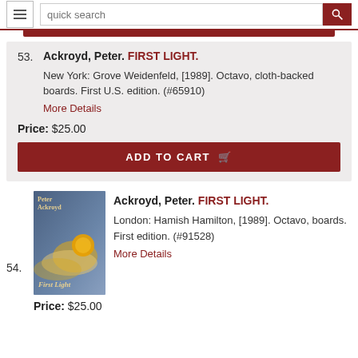quick search
53. Ackroyd, Peter. FIRST LIGHT. New York: Grove Weidenfeld, [1989]. Octavo, cloth-backed boards. First U.S. edition. (#65910) More Details Price: $25.00 ADD TO CART
54. Ackroyd, Peter. FIRST LIGHT. London: Hamish Hamilton, [1989]. Octavo, boards. First edition. (#91528) More Details Price: $25.00